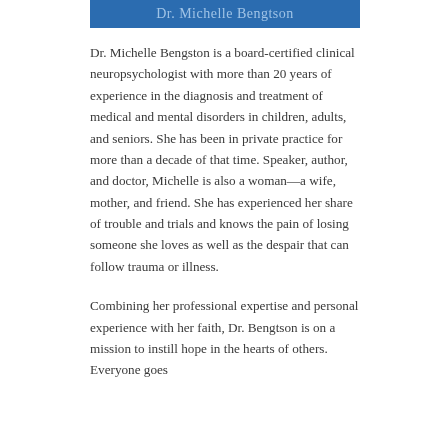Dr. Michelle Bengtson
Dr. Michelle Bengston is a board-certified clinical neuropsychologist with more than 20 years of experience in the diagnosis and treatment of medical and mental disorders in children, adults, and seniors. She has been in private practice for more than a decade of that time. Speaker, author, and doctor, Michelle is also a woman—a wife, mother, and friend. She has experienced her share of trouble and trials and knows the pain of losing someone she loves as well as the despair that can follow trauma or illness.
Combining her professional expertise and personal experience with her faith, Dr. Bengtson is on a mission to instill hope in the hearts of others. Everyone goes